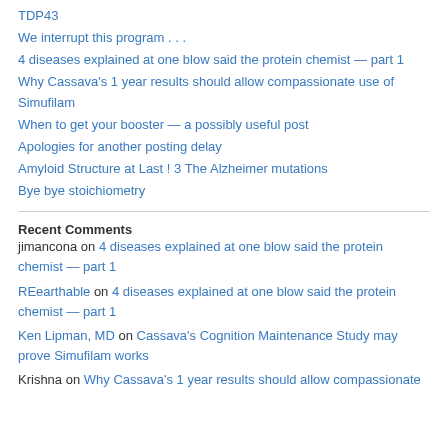TDP43
We interrupt this program . . .
4 diseases explained at one blow said the protein chemist — part 1
Why Cassava's 1 year results should allow compassionate use of Simufilam
When to get your booster — a possibly useful post
Apologies for another posting delay
Amyloid Structure at Last ! 3 The Alzheimer mutations
Bye bye stoichiometry
Recent Comments
jimancona on 4 diseases explained at one blow said the protein chemist — part 1
REearthable on 4 diseases explained at one blow said the protein chemist — part 1
Ken Lipman, MD on Cassava's Cognition Maintenance Study may prove Simufilam works
Krishna on Why Cassava's 1 year results should allow compassionate